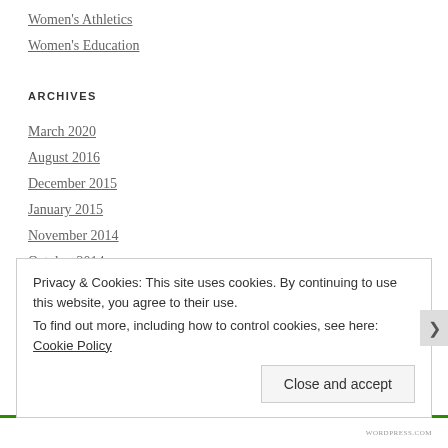Women's Athletics
Women's Education
ARCHIVES
March 2020
August 2016
December 2015
January 2015
November 2014
October 2014
Privacy & Cookies: This site uses cookies. By continuing to use this website, you agree to their use.
To find out more, including how to control cookies, see here: Cookie Policy
Close and accept
WORDPRESS.COM